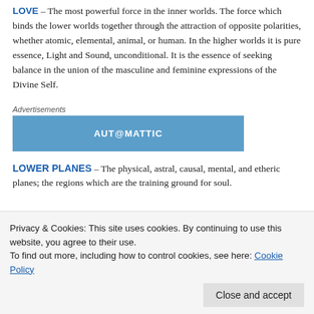LOVE – The most powerful force in the inner worlds. The force which binds the lower worlds together through the attraction of opposite polarities, whether atomic, elemental, animal, or human. In the higher worlds it is pure essence, Light and Sound, unconditional. It is the essence of seeking balance in the union of the masculine and feminine expressions of the Divine Self.
[Figure (other): Advertisements banner with blue Automattic ad box]
LOWER PLANES – The physical, astral, causal, mental, and etheric planes; the regions which are the training ground for soul.
Privacy & Cookies: This site uses cookies. By continuing to use this website, you agree to their use. To find out more, including how to control cookies, see here: Cookie Policy